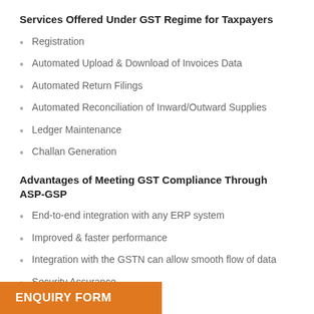Services Offered Under GST Regime for Taxpayers
Registration
Automated Upload & Download of Invoices Data
Automated Return Filings
Automated Reconciliation of Inward/Outward Supplies
Ledger Maintenance
Challan Generation
Advantages of Meeting GST Compliance Through ASP-GSP
End-to-end integration with any ERP system
Improved & faster performance
Integration with the GSTN can allow smooth flow of data
Security Assurance
ENQUIRY FORM